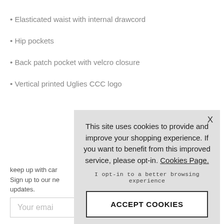• Elasticated waist with internal drawcord
• Hip pockets
• Back patch pocket with velcro closure
• Vertical printed Uglies CCC logo
keep up with car Sign up to our ne updates.
Your emai
To see how w Policy
This site uses cookies to provide and improve your shopping experience. If you want to benefit from this improved service, please opt-in. Cookies Page.
I opt-in to a better browsing experience
ACCEPT COOKIES